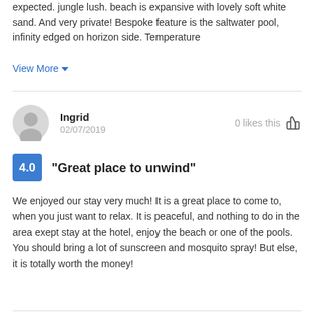expected. jungle lush. beach is expansive with lovely soft white sand. And very private! Bespoke feature is the saltwater pool, infinity edged on horizon side. Temperature
View More
Ingrid
02/07/2019
0 likes this
4.0 "Great place to unwind"
We enjoyed our stay very much! It is a great place to come to, when you just want to relax. It is peaceful, and nothing to do in the area exept stay at the hotel, enjoy the beach or one of the pools. You should bring a lot of sunscreen and mosquito spray! But else, it is totally worth the money!